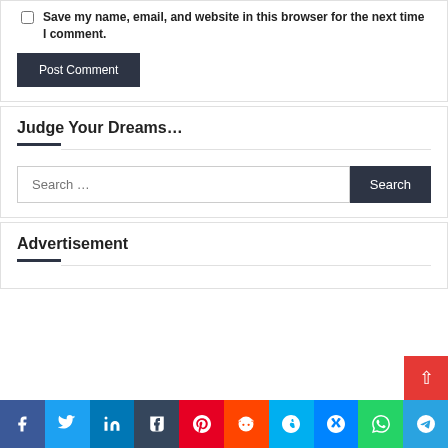Save my name, email, and website in this browser for the next time I comment.
Post Comment
Judge Your Dreams…
Search …
Advertisement